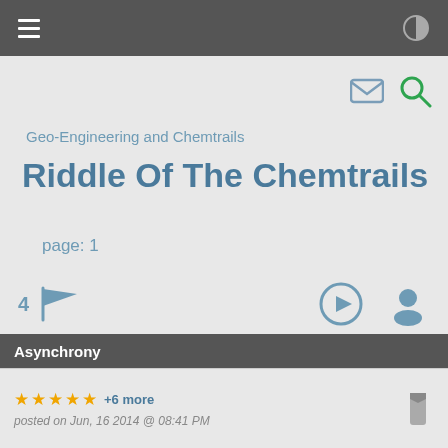Navigation bar with hamburger menu and contrast toggle
[Figure (screenshot): Email and search icons top right]
Geo-Engineering and Chemtrails
Riddle Of The Chemtrails
page: 1
[Figure (infographic): 4 flag icon, login arrow icon, user profile icon]
<< • 2 3 4 >>
share
[Figure (infographic): Social share buttons: Facebook, Twitter, Email, Pinterest, More]
Asynchrony
★★★★★ +6 more
posted on Jun, 16 2014 @ 08:41 PM